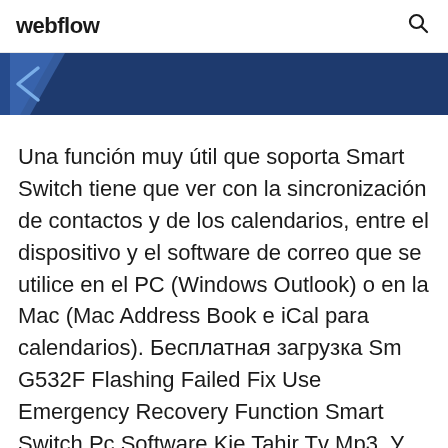webflow
[Figure (other): Dark blue banner with partial arrow/chevron icon visible on the left]
Una función muy útil que soporta Smart Switch tiene que ver con la sincronización de contactos y de los calendarios, entre el dispositivo y el software de correo que se utilice en el PC (Windows Outlook) o en la Mac (Mac Address Book e iCal para calendarios). Бесплатная загрузка Sm G532F Flashing Failed Fix Use Emergency Recovery Function Smart Switch Pc Software Kie Tahir Tv Mp3. У нас есть mp3 файлы